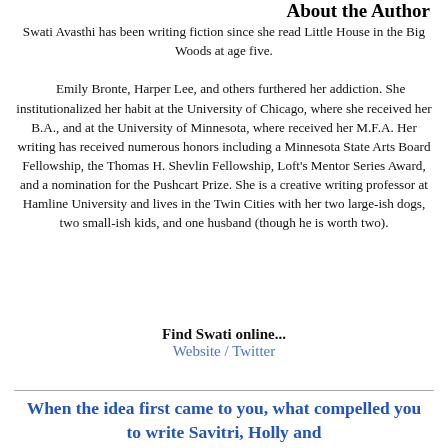About the Author
Swati Avasthi has been writing fiction since she read Little House in the Big Woods at age five.

Emily Bronte, Harper Lee, and others furthered her addiction. She institutionalized her habit at the University of Chicago, where she received her B.A., and at the University of Minnesota, where received her M.F.A. Her writing has received numerous honors including a Minnesota State Arts Board Fellowship, the Thomas H. Shevlin Fellowship, Loft's Mentor Series Award, and a nomination for the Pushcart Prize. She is a creative writing professor at Hamline University and lives in the Twin Cities with her two large-ish dogs, two small-ish kids, and one husband (though he is worth two).
Find Swati online...
Website / Twitter
When the idea first came to you, what compelled you to write Savitri, Holly and